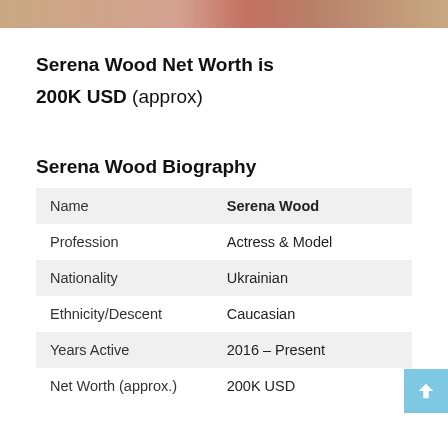[Figure (photo): Partial photo strip at top of page showing a person, cropped]
Serena Wood Net Worth is
200K USD (approx)
Serena Wood Biography
| Name | Serena Wood |
| Profession | Actress & Model |
| Nationality | Ukrainian |
| Ethnicity/Descent | Caucasian |
| Years Active | 2016 – Present |
| Net Worth (approx.) | 200K USD |